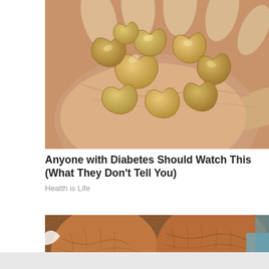[Figure (photo): A close-up photo of a hand palm-up holding a pile of cashew nuts. The hand appears to belong to a fair-skinned person. The cashews are golden-brown in color.]
Anyone with Diabetes Should Watch This (What They Don't Tell You)
Health is Life
[Figure (photo): A close-up medical illustration or photo showing human heels/ankles with cracked, dry skin, partially covered with white cream or bandages. The image is partially cut off at the bottom of the page.]